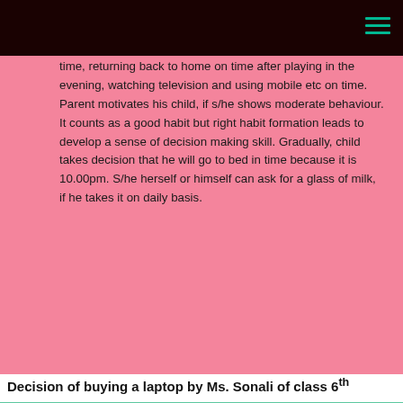time, returning back to home on time after playing in the evening, watching television and using mobile etc on time. Parent motivates his child, if s/he shows moderate behaviour. It counts as a good habit but right habit formation leads to develop a sense of decision making skill. Gradually, child takes decision that he will go to bed in time because it is 10.00pm. S/he herself or himself can ask for a glass of milk, if he takes it on daily basis.
Decision of buying a laptop by Ms. Sonali of class 6th
A good parent always talks to his wards for involving him in decision making. Mr. Chandan is a primary teacher in a government school. He wanted to buy a laptop. He decided a budget of 25000 for the laptop. His elder daughter Sonali studies in 6th class in a reputed school. She searched each and everything on Google and